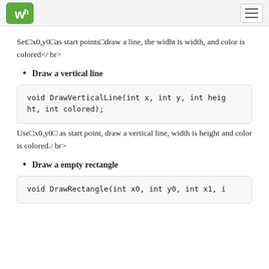Waveshare logo and navigation
Set x0,y0 as start points draw a line, the widht is width, and color is colored</ br>
Draw a vertical line
void DrawVerticalLine(int x, int y, int height, int colored);
Use x0,y0  as start point, draw a vertical line, width is height and color is colored./ br>
Draw a empty rectangle
void DrawRectangle(int x0, int y0, int x1, i